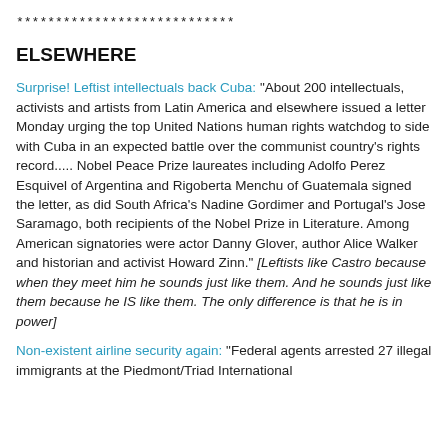****************************
ELSEWHERE
Surprise! Leftist intellectuals back Cuba: "About 200 intellectuals, activists and artists from Latin America and elsewhere issued a letter Monday urging the top United Nations human rights watchdog to side with Cuba in an expected battle over the communist country's rights record..... Nobel Peace Prize laureates including Adolfo Perez Esquivel of Argentina and Rigoberta Menchu of Guatemala signed the letter, as did South Africa's Nadine Gordimer and Portugal's Jose Saramago, both recipients of the Nobel Prize in Literature. Among American signatories were actor Danny Glover, author Alice Walker and historian and activist Howard Zinn." [Leftists like Castro because when they meet him he sounds just like them. And he sounds just like them because he IS like them. The only difference is that he is in power]
Non-existent airline security again: "Federal agents arrested 27 illegal immigrants at the Piedmont/Triad International